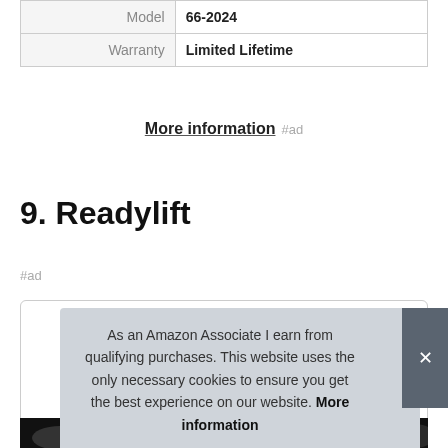|  |  |
| --- | --- |
| Model | 66-2024 |
| Warranty | Limited Lifetime |
More information #ad
9. Readylift
#ad
As an Amazon Associate I earn from qualifying purchases. This website uses the only necessary cookies to ensure you get the best experience on our website. More information